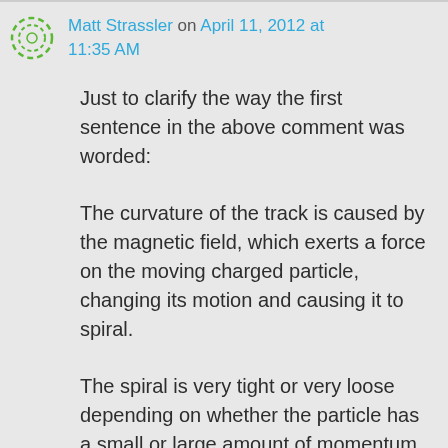Matt Strassler on April 11, 2012 at 11:35 AM
Just to clarify the way the first sentence in the above comment was worded:
The curvature of the track is caused by the magnetic field, which exerts a force on the moving charged particle, changing its motion and causing it to spiral.
The spiral is very tight or very loose depending on whether the particle has a small or large amount of momentum.